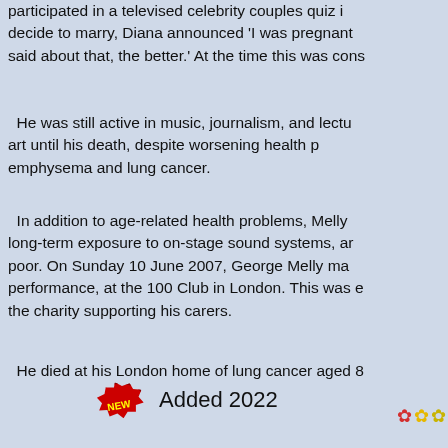participated in a televised celebrity couples quiz i... decide to marry, Diana announced 'I was pregnant... said about that, the better.' At the time this was cons...
He was still active in music, journalism, and lectu... art until his death, despite worsening health pr... emphysema and lung cancer.
In addition to age-related health problems, Melly ... long-term exposure to on-stage sound systems, an... poor. On Sunday 10 June 2007, George Melly ma... performance, at the 100 Club in London. This was e... the charity supporting his carers.
He died at his London home of lung cancer aged 8...
❊❊❊...
NEW Added 2022